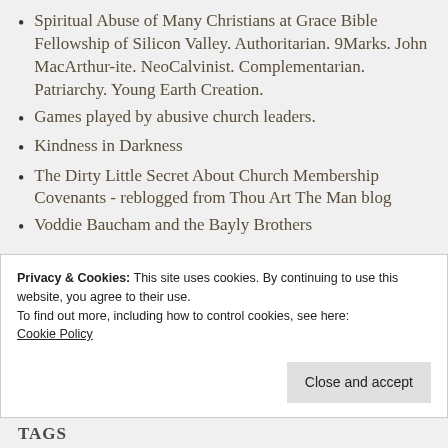Spiritual Abuse of Many Christians at Grace Bible Fellowship of Silicon Valley. Authoritarian. 9Marks. John MacArthur-ite. NeoCalvinist. Complementarian. Patriarchy. Young Earth Creation.
Games played by abusive church leaders.
Kindness in Darkness
The Dirty Little Secret About Church Membership Covenants - reblogged from Thou Art The Man blog
Voddie Baucham and the Bayly Brothers
Privacy & Cookies: This site uses cookies. By continuing to use this website, you agree to their use.
To find out more, including how to control cookies, see here:
Cookie Policy
Close and accept
TAGS